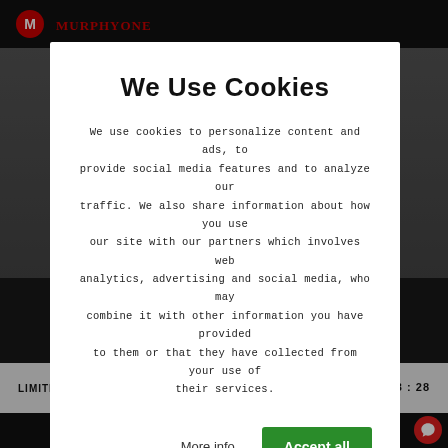[Figure (screenshot): Website background showing dark navigation bar, content area, and footer with social icons and limited time offer bar]
We Use Cookies
We use cookies to personalize content and ads, to provide social media features and to analyze our traffic. We also share information about how you use our site with our partners which involves web analytics, advertising and social media, who may combine it with other information you have provided to them or that they have collected from your use of their services.
More info  ∨
Accept all